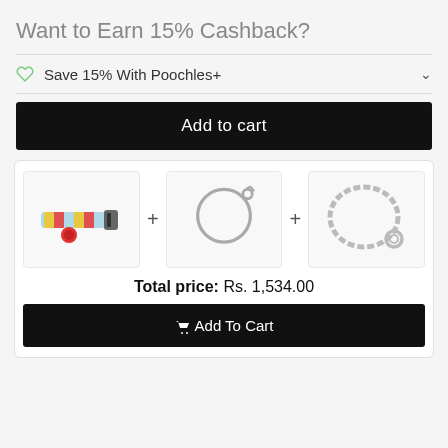Want to Earn 15% Cashback?
Save 15% With Poochles+
Add to cart
[Figure (infographic): Bundle of three dog collar/chain products shown side by side with plus signs between them. Left: colorful dog collar, Middle: thin chain leash loop, Right: heavier chain collar loop.]
Total price: Rs. 1,534.00
Add To Cart